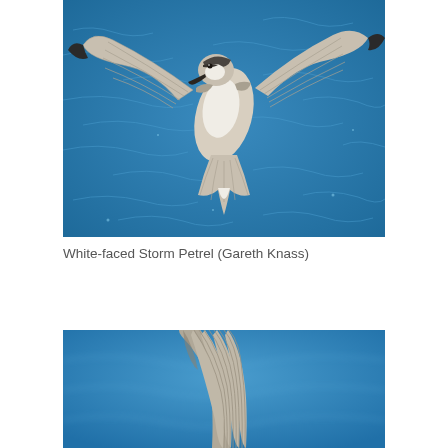[Figure (photo): White-faced Storm Petrel in flight over blue ocean water, viewed from above showing spread wings with brown/grey and white plumage, black wingtips, and small black beak.]
White-faced Storm Petrel (Gareth Knass)
[Figure (photo): Partial view of a bird wing (likely another storm petrel) with spread feathers visible against a blue ocean water background, cropped at bottom of page.]